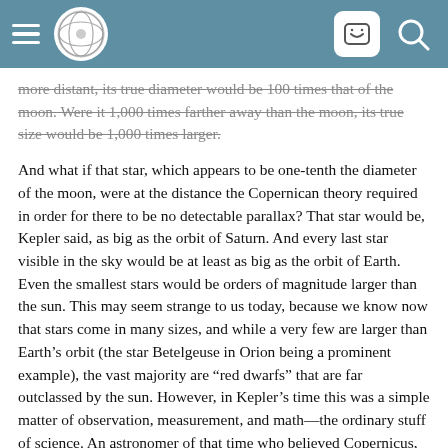[Navigation header with hamburger menu, logo, smiley icon, and search icon]
more distant, its true diameter would be 100 times that of the moon. Were it 1,000 times farther away than the moon, its true size would be 1,000 times larger.
And what if that star, which appears to be one-tenth the diameter of the moon, were at the distance the Copernican theory required in order for there to be no detectable parallax? That star would be, Kepler said, as big as the orbit of Saturn. And every last star visible in the sky would be at least as big as the orbit of Earth. Even the smallest stars would be orders of magnitude larger than the sun. This may seem strange to us today, because we know now that stars come in many sizes, and while a very few are larger than Earth’s orbit (the star Betelgeuse in Orion being a prominent example), the vast majority are “red dwarfs” that are far outclassed by the sun. However, in Kepler’s time this was a simple matter of observation, measurement, and math—the ordinary stuff of science. An astronomer of that time who believed Copernicus, believed the measurement data, and believed math, simply had to believe that all the stars were huge. (More on where they went wrong, in a moment.)